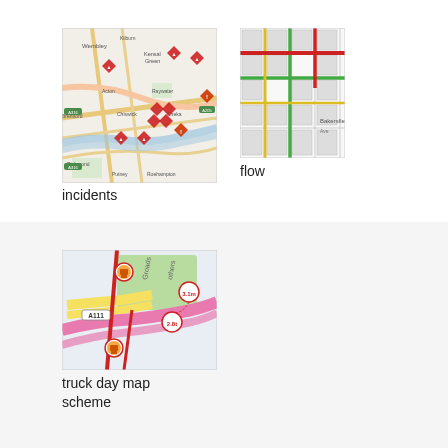[Figure (map): Map showing London area with red diamond-shaped incident markers indicating various traffic incidents around Wembley, Acton, Chiswick, Richmond and surrounding areas]
incidents
[Figure (map): Zoomed-in traffic flow map showing road network with colored lines indicating traffic flow (green, yellow, red lines) on a street grid]
flow
[Figure (map): Truck day map showing road A111 area with orange circle markers indicating truck restrictions, pink/red roads, green area, and distance markers (3.1m, 2.8t)]
truck day map
scheme